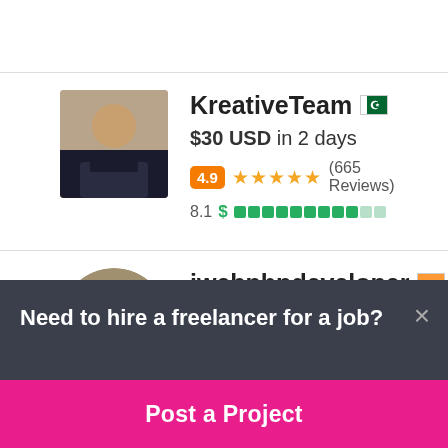KreativeTeam 🇵🇰
$30 USD in 2 days
4.9 ★★★★★ (665 Reviews)
8.1 $ ▓▓▓▓▓▓▓▓▓░░
iwebphpdeveloper 🇮🇳
Need to hire a freelancer for a job?
Post a Project